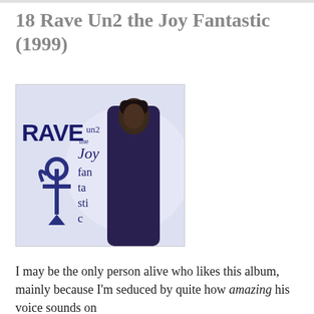18 Rave Un2 the Joy Fantastic (1999)
[Figure (photo): Album cover for 'Rave Un2 the Joy Fantastic' (1999) by Prince, showing Prince in a dark outfit with the Love Symbol, against a light background with stylized text reading 'RAVE un2 the Joy fan ta sti c']
I may be the only person alive who likes this album, mainly because I'm seduced by quite how amazing his voice sounds on